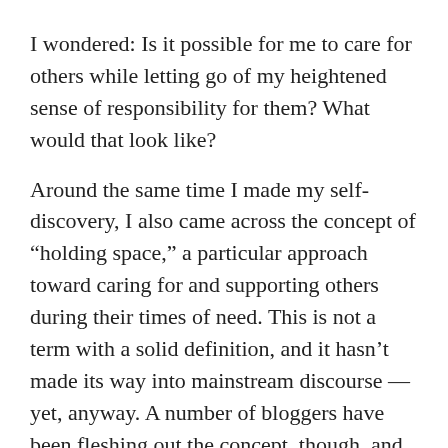I wondered: Is it possible for me to care for others while letting go of my heightened sense of responsibility for them? What would that look like?
Around the same time I made my self-discovery, I also came across the concept of “holding space,” a particular approach toward caring for and supporting others during their times of need. This is not a term with a solid definition, and it hasn’t made its way into mainstream discourse — yet, anyway. A number of bloggers have been fleshing out the concept, though, and I’ll draw from the blogs of writer Heather Plett and artist Karen Casey Smith to highlight what I see as the more salient tenets of holding space.
It’s not about you: Holding space involves refusing to take responsibility for another’s choices or the